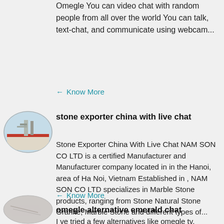Omegle You can video chat with random people from all over the world You can talk, text-chat, and communicate using webcam...
Know More
[Figure (photo): Oval-cropped photo of industrial equipment or machinery outside a building]
stone exporter china with live chat
Stone Exporter China With Live Chat NAM SON CO LTD is a certified Manufacturer and Manufacturer company located in in the Hanoi, area of Ha Noi, Vietnam Established in , NAM SON CO LTD specializes in Marble Stone products, ranging from Stone Natural Stone Granite, Marble Stone and different types of...
Know More
[Figure (photo): Oval-cropped photo of a light gray stone or marble slab surface]
omegle alternative emerald chat
I ve tried a few alternatives like omegle tv,